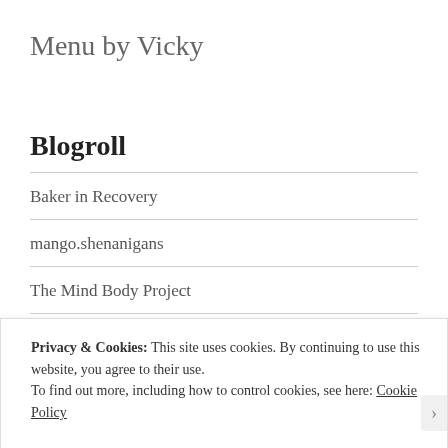Menu by Vicky
Blogroll
Baker in Recovery
mango.shenanigans
The Mind Body Project
Rapunzel's Adventures
Privacy & Cookies: This site uses cookies. By continuing to use this website, you agree to their use.
To find out more, including how to control cookies, see here: Cookie Policy
Close and accept